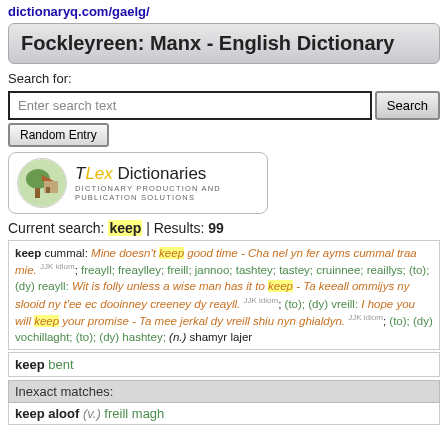dictionaryq.com/gaelg/
Fockleyreen: Manx - English Dictionary
Search for:
Enter search text [Search] [Random Entry]
[Figure (logo): TLex Dictionaries logo with illustrated house/tree icon and tagline: DICTIONARY PRODUCTION AND PUBLICATION SOLUTIONS]
Current search: keep | Results: 99
keep cummal: Mine doesn't keep good time - Cha nel yn fer ayms cummal traa mie. JJK idiom; freayll; freaylley; freill; jannoo; tashtey; tastey; cruinnee; reaillys; (to); (dy) reayll: Wit is folly unless a wise man has it to keep - Ta keeall ommijys ny slooid ny t'ee ec dooinney creeney dy reayll. JJK idiom; (to); (dy) vreill: I hope you will keep your promise - Ta mee jerkal dy vreill shiu nyn ghialdyn. JJK idiom; (to); (dy) vochillaght; (to); (dy) hashtey; (n.) shamyr lajer
keep bent
Inexact matches:
keep aloof (v.) freill magh